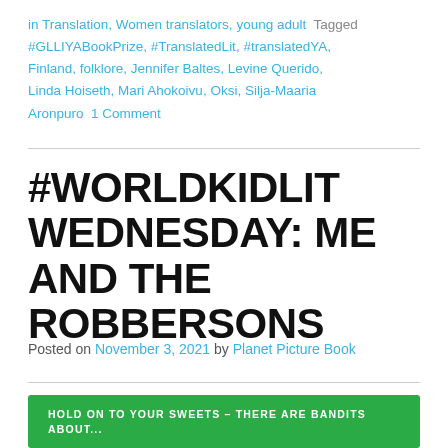in Translation, Women translators, young adult  Tagged #GLLIYABookPrize, #TranslatedLit, #translatedYA, Finland, folklore, Jennifer Baltes, Levine Querido, Linda Hoiseth, Mari Ahokoivu, Oksi, Silja-Maaria Aronpuro  1 Comment
#WORLDKIDLIT WEDNESDAY: ME AND THE ROBBERSONS
Posted on November 3, 2021 by Planet Picture Book
[Figure (illustration): Book cover with green background, white text reading 'HOLD ON TO YOUR SWEETS – THERE ARE BANDITS ABOUT...' with decorative stars and partial silhouette of a figure]